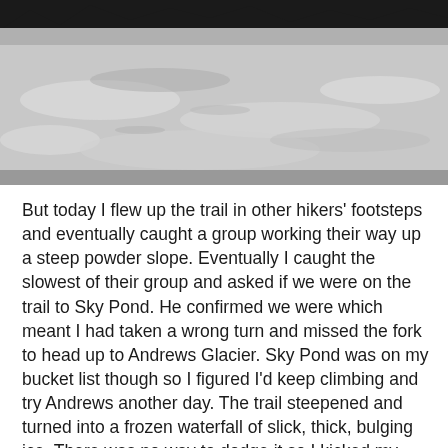[Figure (photo): Black and white photograph of a frozen or snowy landscape, showing a wide expanse of ice/snow with dark treeline in the background under an overcast sky.]
But today I flew up the trail in other hikers' footsteps and eventually caught a group working their way up a steep powder slope. Eventually I caught the slowest of their group and asked if we were on the trail to Sky Pond. He confirmed we were which meant I had taken a wrong turn and missed the fork to head up to Andrews Glacier. Sky Pond was on my bucket list though so I figured I'd keep climbing and try Andrews another day. The trail steepened and turned into a frozen waterfall of slick, thick, bulging ice. There was no way to dodge it so I kicked my crampons into the ice and chopped my way up. At only maybe 20-30 feet high, in the worst case a fall could have left me hurting but with my full gear on I felt